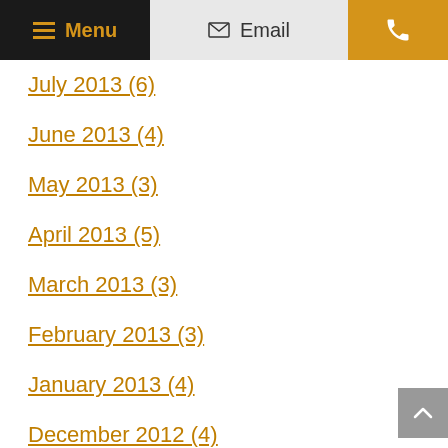Menu | Email | Phone
July 2013 (6)
June 2013 (4)
May 2013 (3)
April 2013 (5)
March 2013 (3)
February 2013 (3)
January 2013 (4)
December 2012 (4)